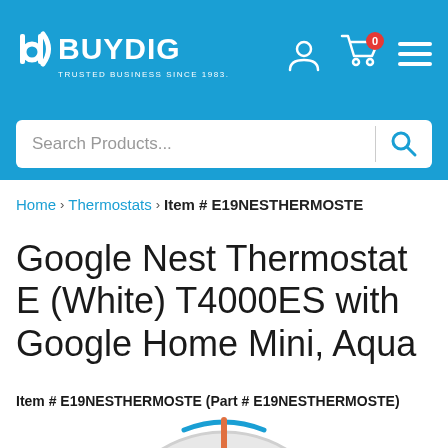BUYDIG - TRUSTED BUSINESS SINCE 1983.
Search Products...
Home › Thermostats › Item # E19NESTHERMOSTE
Google Nest Thermostat E (White) T4000ES with Google Home Mini, Aqua
Item # E19NESTHERMOSTE (Part # E19NESTHERMOSTE)
[Figure (photo): Partial view of a Google Nest Thermostat device - circular white thermostat with aqua/blue accent and orange temperature indicator]